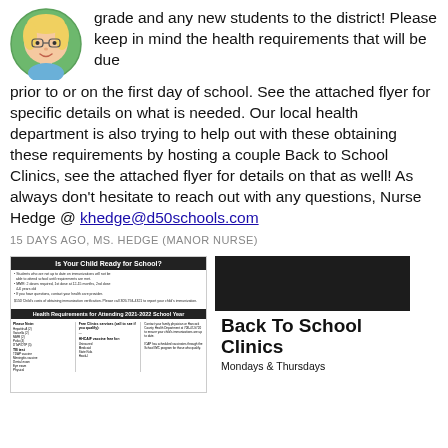[Figure (illustration): Cartoon avatar of a blonde woman with glasses, circular framed bitmoji-style illustration]
grade and any new students to the district! Please keep in mind the health requirements that will be due prior to or on the first day of school. See the attached flyer for specific details on what is needed. Our local health department is also trying to help out with these obtaining these requirements by hosting a couple Back to School Clinics, see the attached flyer for details on that as well! As always don't hesitate to reach out with any questions, Nurse Hedge @ khedge@d50schools.com
15 DAYS AGO, MS. HEDGE (MANOR NURSE)
[Figure (screenshot): Flyer thumbnail: 'Is Your Child Ready for School?' with health requirements for attending 2021-2022 school year]
[Figure (screenshot): Back To School Clinics flyer with dark background showing school supplies, text reads 'Back To School Clinics Mondays & Thursdays']